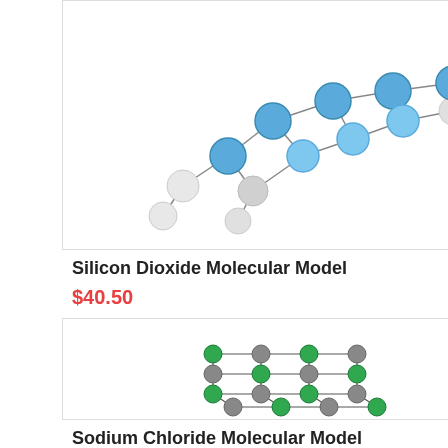[Figure (photo): Silicon Dioxide molecular model: ball-and-stick model with blue and white spheres connected by sticks, showing SiO2 network structure]
Silicon Dioxide Molecular Model
$40.50
[Figure (photo): Sodium Chloride molecular model: cubic lattice structure with alternating green and grey spheres connected by sticks, showing NaCl crystal structure]
Sodium Chloride Molecular Model
$40.50